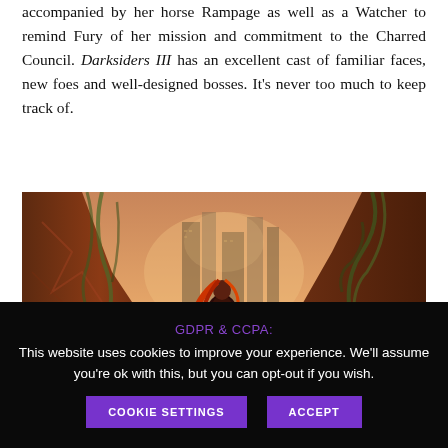accompanied by her horse Rampage as well as a Watcher to remind Fury of her mission and commitment to the Charred Council. Darksiders III has an excellent cast of familiar faces, new foes and well-designed bosses. It's never too much to keep track of.
[Figure (photo): In-game screenshot from Darksiders III showing the protagonist Fury (red-haired female warrior in dark armor) standing in a ruined urban environment overgrown with vines and large red rock formations, with deteriorated skyscrapers visible in the background.]
GDPR & CCPA:
This website uses cookies to improve your experience. We'll assume you're ok with this, but you can opt-out if you wish.